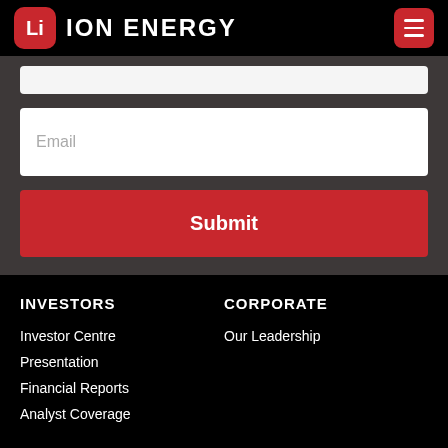[Figure (logo): Li-Ion Energy logo with red rounded square badge showing 'Li' and white text 'ION ENERGY' with hamburger menu button]
[Figure (screenshot): Partially visible input field at top of form section]
Email
Submit
INVESTORS
CORPORATE
Investor Centre
Presentation
Financial Reports
Analyst Coverage
Our Leadership
NEWS
CONTACT